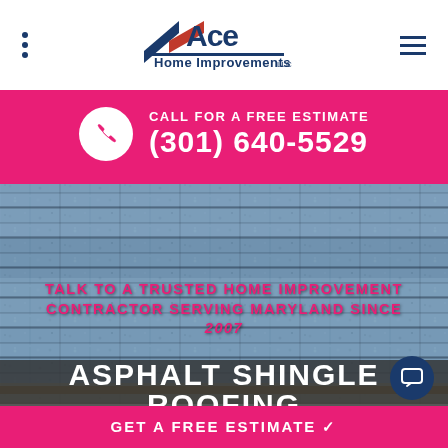[Figure (logo): Ace Home Improvements LLC logo with blue and red text and roof graphic]
CALL FOR A FREE ESTIMATE
(301) 640-5529
[Figure (photo): Close-up photo of blue-grey asphalt roofing shingles]
TALK TO A TRUSTED HOME IMPROVEMENT CONTRACTOR SERVING MARYLAND SINCE 2007
ASPHALT SHINGLE ROOFING
GET A FREE ESTIMATE ✓